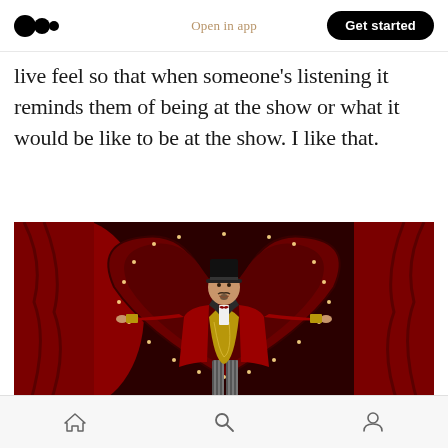Medium logo | Open in app | Get started
live feel so that when someone's listening it reminds them of being at the show or what it would be like to be at the show. I like that.
[Figure (photo): A performer in a red ringmaster jacket, gold sequined vest, black top hat, and bow tie, arms outstretched, standing in front of a large red ornate heart-shaped backdrop with lights, reminiscent of a Moulin Rouge theatrical production.]
Home | Search | Profile icons